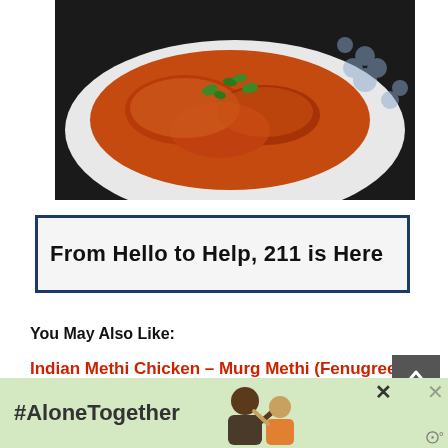[Figure (photo): Photo of Indian chicken dish (dark orange/red curry) on a decorative white plate with blue floral pattern, garnished with green herbs, on a dark background.]
[Figure (other): Advertisement banner with blue border reading 'From Hello to Help, 211 is Here']
You May Also Like:
Indian Methi Chicken – Murg Methi (Fenugreek Chicken)
Achari Chicken (Achari Murgh) Indian Chicken Recipe
[Figure (photo): Bottom advertisement banner with green background showing '#AloneTogether' text and a photo of people waving, with close buttons.]